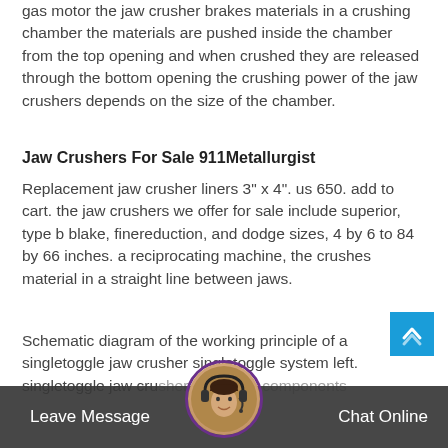gas motor the jaw crusher brakes materials in a crushing chamber the materials are pushed inside the chamber from the top opening and when crushed they are released through the bottom opening the crushing power of the jaw crushers depends on the size of the chamber.
Jaw Crushers For Sale 911Metallurgist
Replacement jaw crusher liners 3" x 4". us 650. add to cart. the jaw crushers we offer for sale include superior, type b blake, finereduction, and dodge sizes, 4 by 6 to 84 by 66 inches. a reciprocating machine, the crushes material in a straight line between jaws.
Schematic diagram of the working principle of a singletoggle jaw crusher singletoggle system left. singletoggle jaw crusher with main components
Leave Message   Chat Online